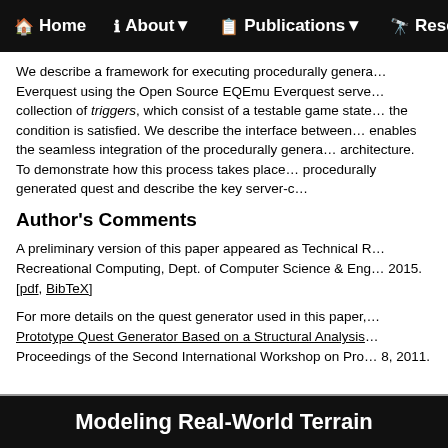Home  About▼  Publications▼  Resear…
We describe a framework for executing procedurally genera… Everquest using the Open Source EQEmu Everquest serve… collection of triggers, which consist of a testable game state… the condition is satisfied. We describe the interface between… enables the seamless integration of the procedurally genera… architecture. To demonstrate how this process takes place… procedurally generated quest and describe the key server-c…
Author's Comments
A preliminary version of this paper appeared as Technical R… Recreational Computing, Dept. of Computer Science & Eng… 2015. [pdf, BibTeX]
For more details on the quest generator used in this paper,… Prototype Quest Generator Based on a Structural Analysis… Proceedings of the Second International Workshop on Proc… 8, 2011.
Modeling Real-World Terrain…